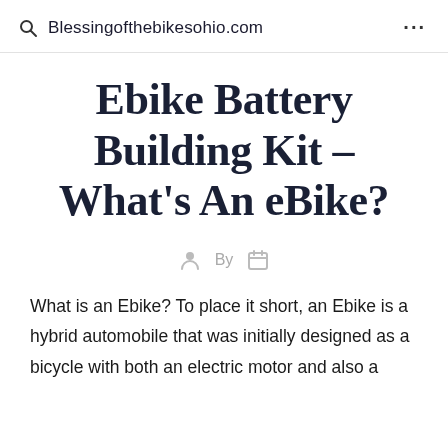Blessingofthebikesohio.com
Ebike Battery Building Kit – What's An eBike?
By
What is an Ebike? To place it short, an Ebike is a hybrid automobile that was initially designed as a bicycle with both an electric motor and also a